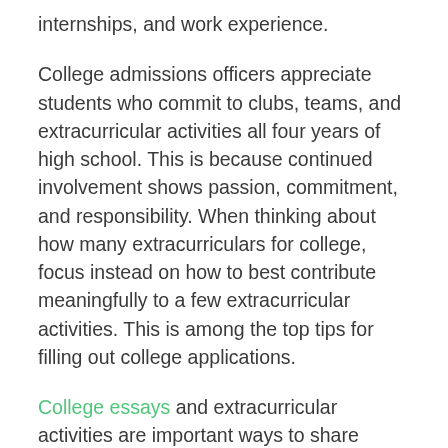internships, and work experience.
College admissions officers appreciate students who commit to clubs, teams, and extracurricular activities all four years of high school. This is because continued involvement shows passion, commitment, and responsibility. When thinking about how many extracurriculars for college, focus instead on how to best contribute meaningfully to a few extracurricular activities. This is among the top tips for filling out college applications.
College essays and extracurricular activities are important ways to share personal details on the Common App. It's important to use every opportunity available to you to personalize your college applications and give admissions